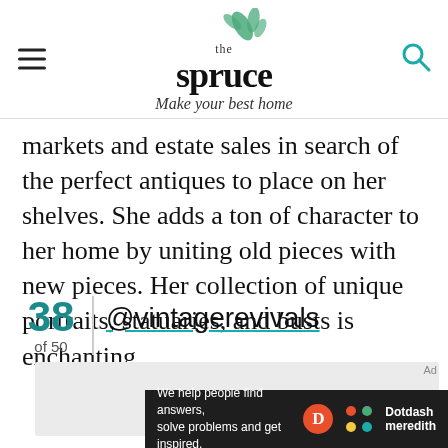the spruce — Make your best home
markets and estate sales in search of the perfect antiques to place on her shelves. She adds a ton of character to her home by uniting old pieces with new pieces. Her collection of unique portraits, statuaries, and busts is enchanting.
38 of 50 | @vintagerevivals
[Figure (other): Gray advertisement placeholder area with 'Ad' label]
[Figure (other): Dotdash Meredith bottom banner: 'We help people find answers, solve problems and get inspired.']